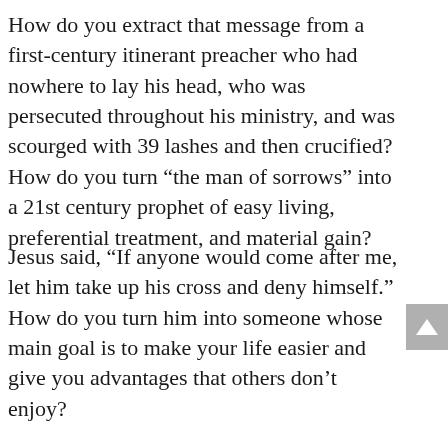How do you extract that message from a first-century itinerant preacher who had nowhere to lay his head, who was persecuted throughout his ministry, and was scourged with 39 lashes and then crucified? How do you turn “the man of sorrows” into a 21st century prophet of easy living, preferential treatment, and material gain?
Jesus said, “If anyone would come after me, let him take up his cross and deny himself.” How do you turn him into someone whose main goal is to make your life easier and give you advantages that others don’t enjoy?